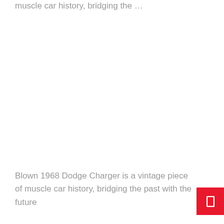muscle car history, bridging the …
Blown 1968 Dodge Charger is a vintage piece of muscle car history, bridging the past with the future